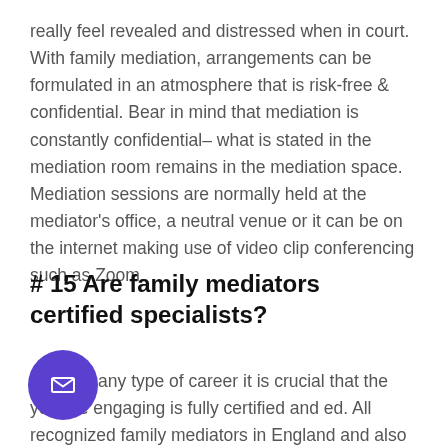really feel revealed and distressed when in court. With family mediation, arrangements can be formulated in an atmosphere that is risk-free & confidential. Bear in mind that mediation is constantly confidential– what is stated in the mediation room remains in the mediation space. Mediation sessions are normally held at the mediator's office, a neutral venue or it can be on the internet making use of video clip conferencing such as Zoom.
# 15 Are family mediators certified specialists?
Just like any type of career it is crucial that the you are engaging is fully certified and ed. All recognized family mediators in England and also Wales are provided on the website of the